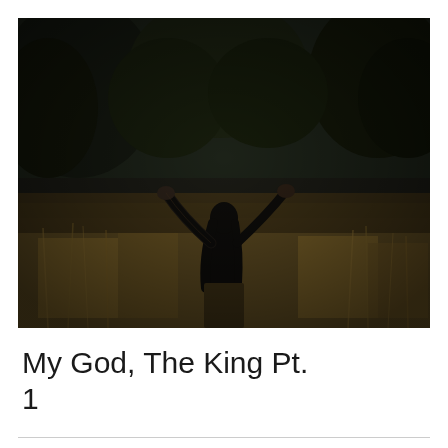[Figure (photo): A person standing in a field of tall golden-brown grass, viewed from behind, with arms raised and outstretched upward in a worshipful or celebratory pose. The background is a dark, blurred forest of trees. The overall tone of the image is dark and moody.]
My God, The King Pt. 1